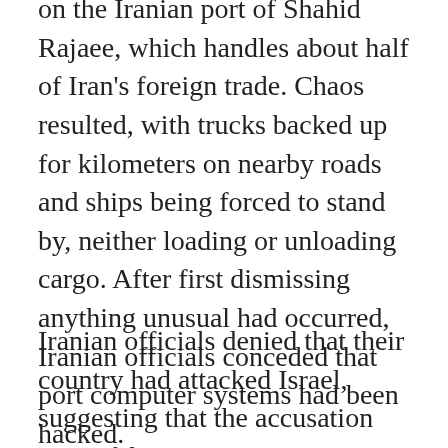on the Iranian port of Shahid Rajaee, which handles about half of Iran's foreign trade. Chaos resulted, with trucks backed up for kilometers on nearby roads and ships being forced to stand by, neither loading or unloading cargo. After first dismissing anything unusual had occurred, Iranian officials conceded that port computer systems had been hacked.
Iranian officials denied that their country had attacked Israel, suggesting that the accusation was a fabrication to get money from the United States, while insisting that their cyber activities are all defensive.